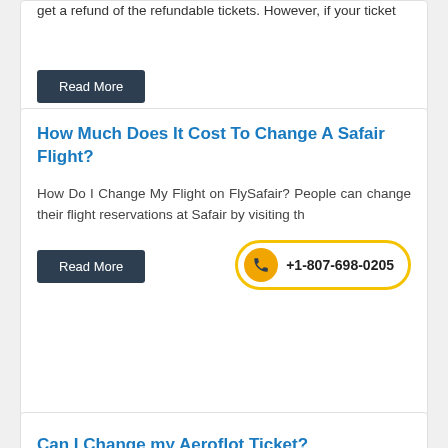get a refund of the refundable tickets. However, if your ticket
Read More
How Much Does It Cost To Change A Safair Flight?
How Do I Change My Flight on FlySafair? People can change their flight reservations at Safair by visiting th
Read More
+1-807-698-0205
Can I Change my Aeroflot Ticket?